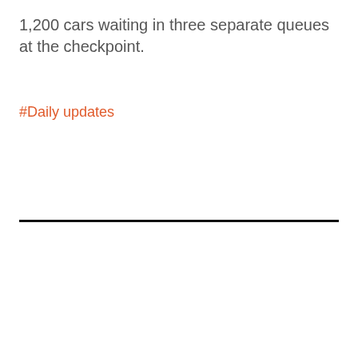1,200 cars waiting in three separate queues at the checkpoint.
#Daily updates